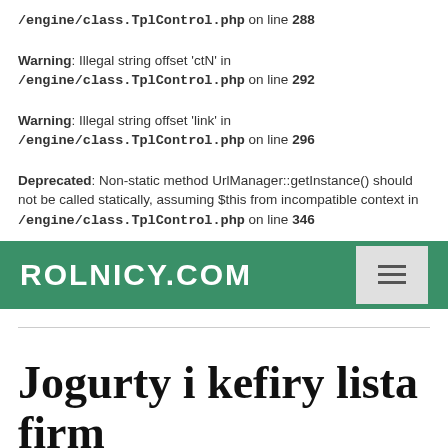/engine/class.TplControl.php on line 288
Warning: Illegal string offset 'ctN' in /engine/class.TplControl.php on line 292
Warning: Illegal string offset 'link' in /engine/class.TplControl.php on line 296
Deprecated: Non-static method UrlManager::getInstance() should not be called statically, assuming $this from incompatible context in /engine/class.TplControl.php on line 346
[Figure (screenshot): Navigation bar with ROLNICY.COM brand and hamburger menu icon on green background]
Jogurty i kefiry lista firm